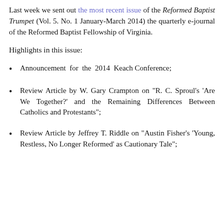Last week we sent out the most recent issue of the Reformed Baptist Trumpet (Vol. 5. No. 1 January-March 2014) the quarterly e-journal of the Reformed Baptist Fellowship of Virginia.
Highlights in this issue:
Announcement for the 2014 Keach Conference;
Review Article by W. Gary Crampton on "R. C. Sproul's 'Are We Together?' and the Remaining Differences Between Catholics and Protestants";
Review Article by Jeffrey T. Riddle on "Austin Fisher's 'Young, Restless, No Longer Reformed' as Cautionary Tale";